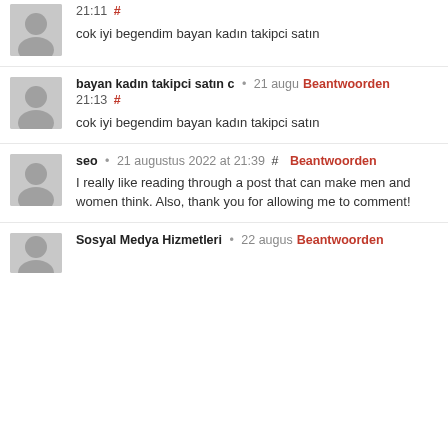21:11 # cok iyi begendim bayan kadın takipci satın
bayan kadın takipci satın c • 21 augu... Beantwoorden 21:13 # cok iyi begendim bayan kadın takipci satın
seo • 21 augustus 2022 at 21:39 # Beantwoorden I really like reading through a post that can make men and women think. Also, thank you for allowing me to comment!
Sosyal Medya Hizmetleri • 22 augus... Beantwoorden